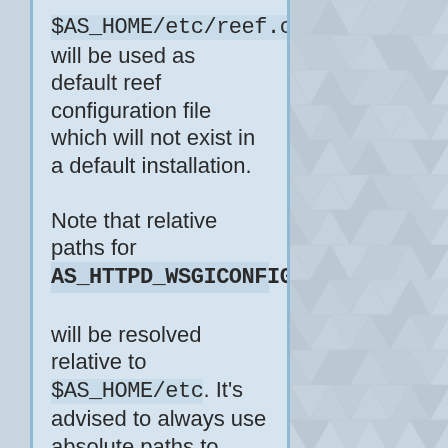$AS_HOME/etc/reef.conf will be used as default reef configuration file which will not exist in a default installation.

Note that relative paths for AS_HTTPD_WSGICONFIG will be resolved relative to $AS_HOME/etc. It's advised to always use absolute paths to avoid ambiguity